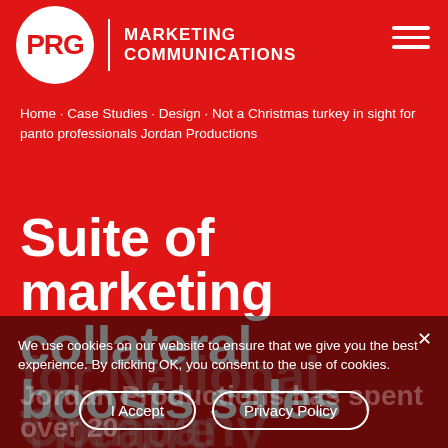[Figure (logo): PRG Marketing Communications logo: white circle with 'PRG' in red letters, vertical white divider, then 'MARKETING COMMUNICATIONS' in white bold caps text. Hamburger menu icon (three white horizontal lines) in top right corner.]
Home · Case Studies · Design · Not a Christmas turkey in sight for panto professionals Jordan Productions
Suite of marketing collateral boosts sales for National Theatre Company
We use cookies on our website to ensure that we give you the best experience. By clicking OK, you consent to the use of cookies.
Jordan Productions has spent over 20